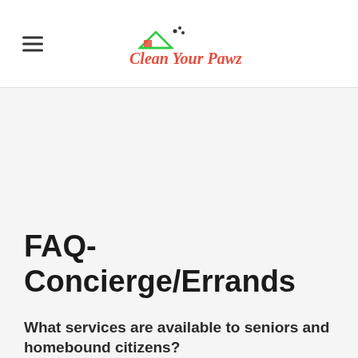[Figure (logo): Clean Your Pawz logo with a house/triangle icon and paw prints, colorful script text]
FAQ-
Concierge/Errands
What services are available to seniors and homebound citizens?